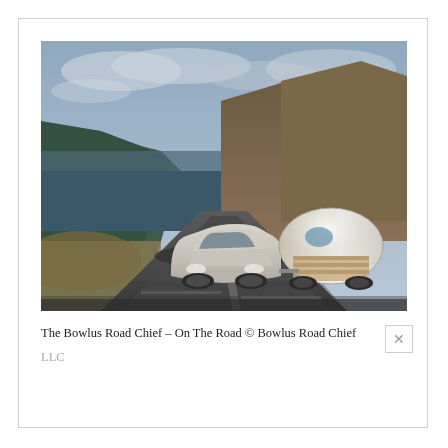[Figure (photo): A silver Porsche sedan towing a shiny aluminum Bowlus Road Chief travel trailer on a coastal highway with dramatic cliffs and ocean in the background, under a cloudy sky.]
The Bowlus Road Chief – On The Road © Bowlus Road Chief LLC